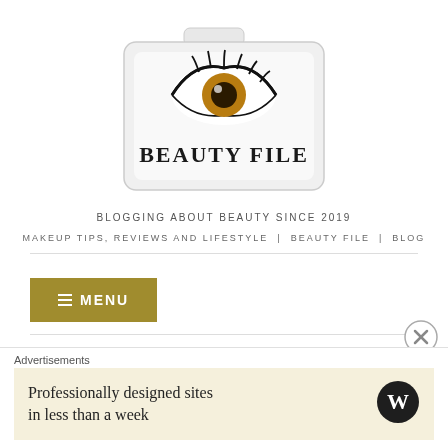[Figure (logo): Beauty File blog logo: a folder icon with an eye illustration and the text BEAUTY FILE in bold serif font]
BLOGGING ABOUT BEAUTY SINCE 2019
MAKEUP TIPS, REVIEWS AND LIFESTYLE | BEAUTY FILE | BLOG
≡ MENU
Advertisements
Professionally designed sites in less than a week